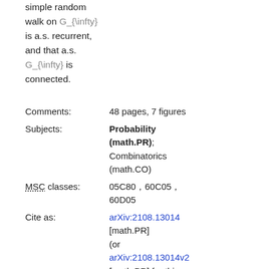simple random walk on G_{\infty} is a.s. recurrent, and that a.s. G_{\infty} is connected.
| Comments: | 48 pages, 7 figures |
| Subjects: | Probability (math.PR); Combinatorics (math.CO) |
| MSC classes: | 05C80, 60C05, 60D05 |
| Cite as: | arXiv:2108.13014 [math.PR] (or arXiv:2108.13014v2 [math.PR] for this version) |